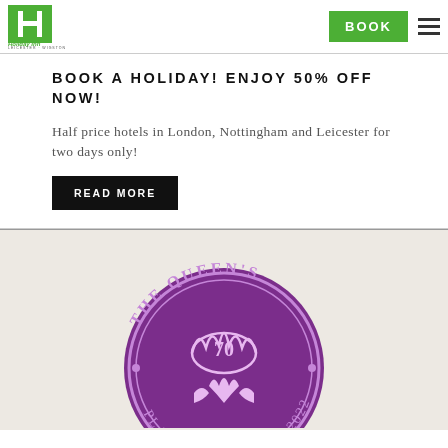[Figure (logo): Holiday Inn logo with green H graphic and 'Holiday Inn' text below, with 'LEICESTER · WIGSTON' subtitle]
[Figure (other): Green 'BOOK' button and hamburger menu icon in the header]
BOOK A HOLIDAY! ENJOY 50% OFF NOW!
Half price hotels in London, Nottingham and Leicester for two days only!
READ MORE
[Figure (logo): The Queen's Platinum Jubilee 2022 circular purple emblem/badge with crown and royal cipher, partially visible]